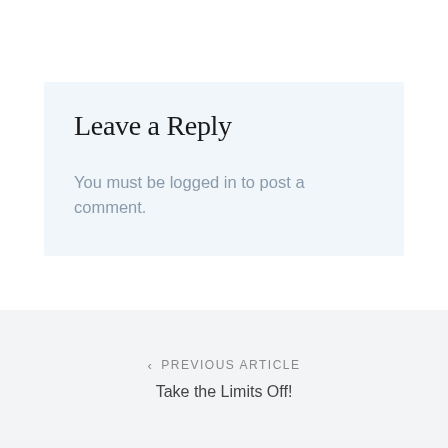Leave a Reply
You must be logged in to post a comment.
‹ PREVIOUS ARTICLE
Take the Limits Off!